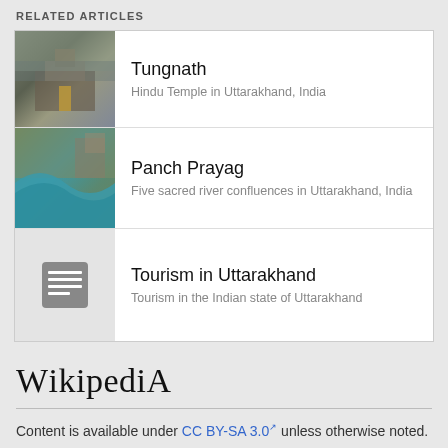RELATED ARTICLES
Tungnath — Hindu Temple in Uttarakhand, India
Panch Prayag — Five sacred river confluences in Uttarakhand, India
Tourism in Uttarakhand — Tourism in the Indian state of Uttarakhand
[Figure (logo): Wikipedia logo with text 'Wikipedia']
Content is available under CC BY-SA 3.0 unless otherwise noted.
Terms of Use • Privacy policy • Desktop